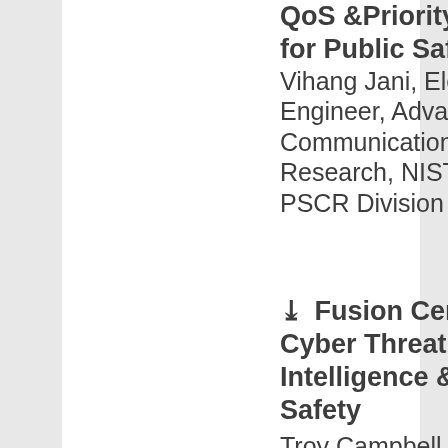QoS &Priority Service for Public Safety
Vihang Jani, Electronics Engineer, Advanced Communications Research, NIST-CTL PSCR Division
Fusion Centers, Cyber Threat Intelligence & Public Safety
Troy Campbell, Cyber Threat